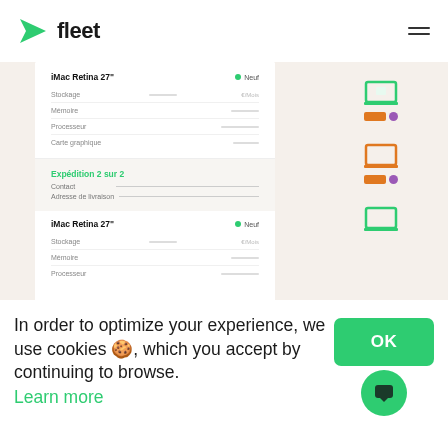fleet
[Figure (screenshot): Fleet web application UI screenshot showing iMac Retina 27" device entries with fields for Stockage, Mémoire, Processeur, Carte graphique. An Expédition 2 sur 2 section shows Contact and Adresse de livraison fields. Right side shows device category icons in green and orange. Background is beige/cream.]
In order to optimize your experience, we use cookies 🍪, which you accept by continuing to browse.
Learn more